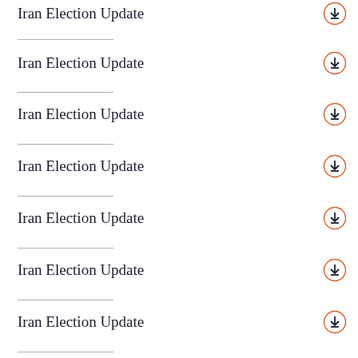Iran Election Update
Iran Election Update
Iran Election Update
Iran Election Update
Iran Election Update
Iran Election Update